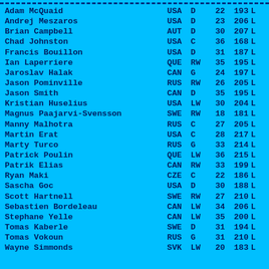| Name | NAT | POS | Age | Num | ? |
| --- | --- | --- | --- | --- | --- |
| Adam McQuaid | USA | D | 22 | 193 | L |
| Andrej Meszaros | USA | D | 23 | 206 | L |
| Brian Campbell | AUT | D | 30 | 207 | L |
| Chad Johnston | USA | C | 36 | 168 | L |
| Francis Bouillon | USA | D | 31 | 187 | L |
| Ian Laperriere | QUE | RW | 35 | 195 | L |
| Jaroslav Halak | CAN | G | 24 | 197 | L |
| Jason Pominville | RUS | RW | 26 | 205 | L |
| Jason Smith | CAN | D | 35 | 195 | L |
| Kristian Huselius | USA | LW | 30 | 204 | L |
| Magnus Paajarvi-Svensson | SWE | RW | 18 | 181 | L |
| Manny Malhotra | RUS | C | 27 | 205 | L |
| Martin Erat | USA | C | 28 | 217 | L |
| Marty Turco | RUS | G | 33 | 214 | L |
| Patrick Poulin | QUE | LW | 36 | 215 | L |
| Patrik Elias | CAN | RW | 33 | 199 | L |
| Ryan Maki | CZE | C | 22 | 186 | L |
| Sascha Goc | USA | D | 30 | 188 | L |
| Scott Hartnell | SWE | RW | 27 | 210 | L |
| Sebastien Bordeleau | CAN | LW | 34 | 206 | L |
| Stephane Yelle | CAN | LW | 35 | 200 | L |
| Tomas Kaberle | SWE | D | 31 | 194 | L |
| Tomas Vokoun | RUS | G | 31 | 210 | L |
| Wayne Simmonds | SVK | LW | 20 | 183 | L |